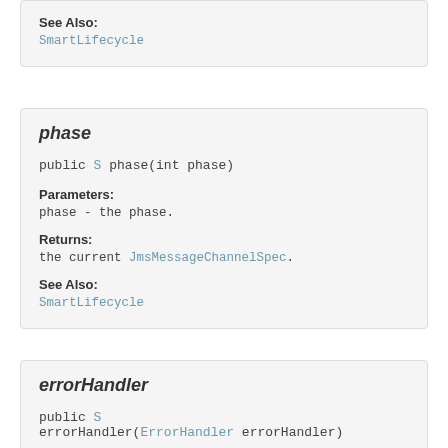See Also:
SmartLifecycle
phase
public S phase(int phase)
Parameters:
phase - the phase.
Returns:
the current JmsMessageChannelSpec.
See Also:
SmartLifecycle
errorHandler
public S errorHandler(ErrorHandler errorHandler)